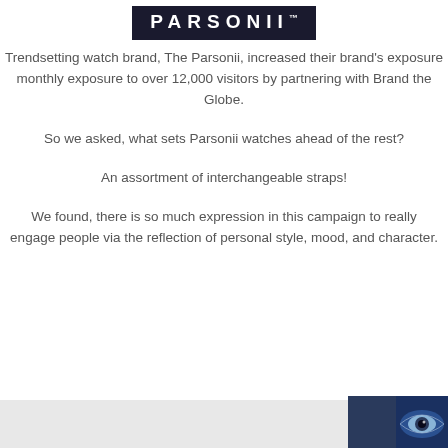[Figure (logo): Parsonii brand logo: white text on dark navy/black background with trademark symbol]
Trendsetting watch brand, The Parsonii, increased their brand's exposure monthly exposure to over 12,000 visitors by partnering with Brand the Globe.
So we asked, what sets Parsonii watches ahead of the rest?
An assortment of interchangeable straps!
We found, there is so much expression in this campaign to really engage people via the reflection of personal style, mood, and character.
[Figure (photo): Partial image at bottom right: dark blue square and an eye/watch image]